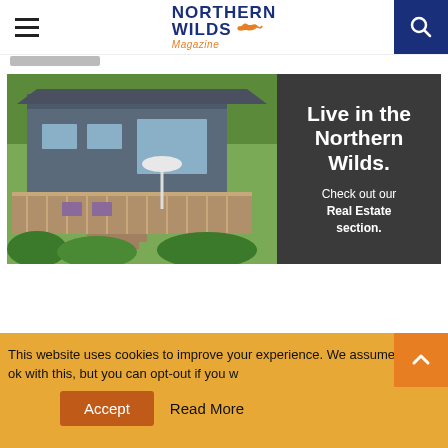Northern Wilds Magazine
[Figure (photo): Advertisement banner for Northern Wilds Magazine real estate section. Left side shows a photo of a lakeside cabin/house with a large wooden deck, outdoor furniture, surrounding trees and garden. Right side is dark gray with white text reading 'Live in the Northern Wilds. Check out our Real Estate section.']
This website uses cookies to improve your experience. We assume you're ok with this, but you can opt-out if you wish.
Accept   Read More